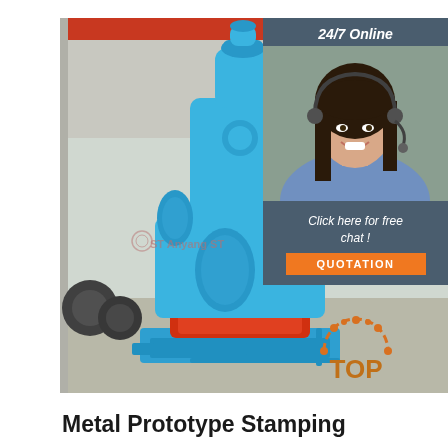[Figure (photo): Industrial metal stamping press machine painted in bright blue with red interior base, photographed in a warehouse/factory setting. Overlays include: a dark slate sidebar with '24/7 Online' text and a woman with headset (customer service), 'Click here for free chat!' text, an orange 'QUOTATION' button, and a 'TOP' badge with gear/cog icon in the lower right. The machine has an Anyang ST logo/watermark on it.]
Metal Prototype Stamping